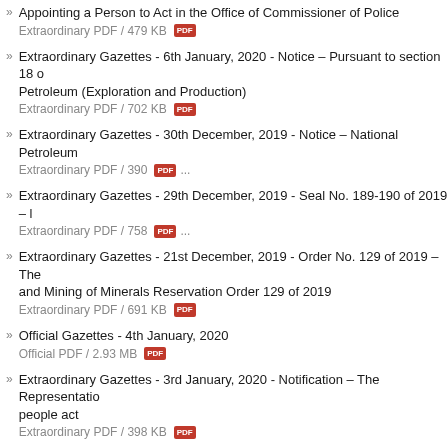Appointing a Person to Act in the Office of Commissioner of Police
Extraordinary PDF / 479 KB
Extraordinary Gazettes - 6th January, 2020 - Notice – Pursuant to section 18 of the Petroleum (Exploration and Production)
Extraordinary PDF / 702 KB
Extraordinary Gazettes - 30th December, 2019 - Notice – National Petroleum
Extraordinary PDF / 390 ...
Extraordinary Gazettes - 29th December, 2019 - Seal No. 189-190 of 2019 –
Extraordinary PDF / 758 ...
Extraordinary Gazettes - 21st December, 2019 - Order No. 129 of 2019 – The and Mining of Minerals Reservation Order 129 of 2019
Extraordinary PDF / 691 KB
Official Gazettes - 4th January, 2020
Official PDF / 2.93 MB
Extraordinary Gazettes - 3rd January, 2020 - Notification – The Representation of people act
Extraordinary PDF / 398 KB
Extraordinary Gazettes - 2nd January, 2020 - Notice – The Representation of
Extraordinary PDF / 412 KB